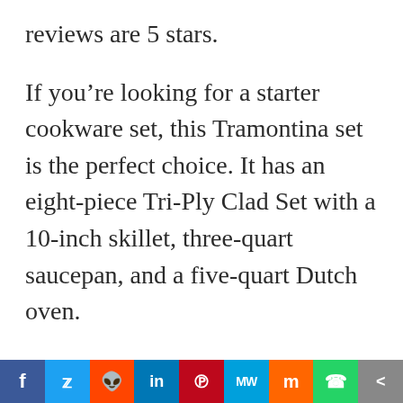reviews are 5 stars.
If you're looking for a starter cookware set, this Tramontina set is the perfect choice. It has an eight-piece Tri-Ply Clad Set with a 10-inch skillet, three-quart saucepan, and a five-quart Dutch oven.
If you're looking for a replacement kitchen or an upgrade, this set is the way to go. You'll be pleased with the
f  [Twitter bird]  [Reddit alien]  in  [Pinterest P]  MW  [Mix m]  [WhatsApp]  [share]